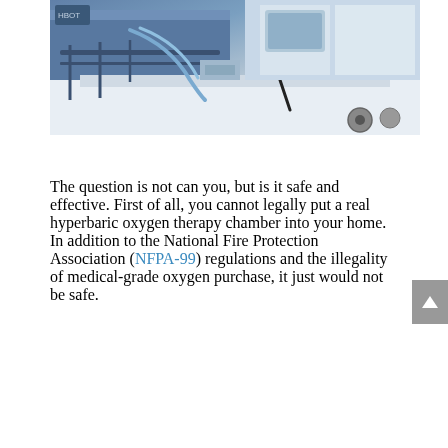[Figure (photo): Close-up photograph of a hyperbaric oxygen therapy chamber, showing blue and white metal frame construction with rails, tubing, wheels, and mechanical components.]
The question is not can you, but is it safe and effective. First of all, you cannot legally put a real hyperbaric oxygen therapy chamber into your home. In addition to the National Fire Protection Association (NFPA-99) regulations and the illegality of medical-grade oxygen purchase, it just would not be safe.